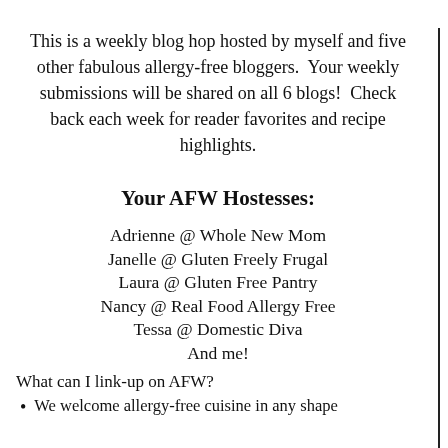This is a weekly blog hop hosted by myself and five other fabulous allergy-free bloggers.  Your weekly submissions will be shared on all 6 blogs!  Check back each week for reader favorites and recipe highlights.
Your AFW Hostesses:
Adrienne @ Whole New Mom
Janelle @ Gluten Freely Frugal
Laura @ Gluten Free Pantry
Nancy @ Real Food Allergy Free
Tessa @ Domestic Diva
And me!
What can I link-up on AFW?
We welcome allergy-free cuisine in any shape